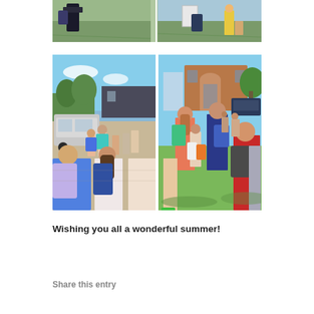[Figure (photo): Top photo strip showing children and adults on grass outside a school building, with backpacks visible.]
[Figure (photo): Two side-by-side photos: left shows children with backpacks in a school parking lot on a sunny day; right shows children and adults on grass outside a brick school building with a sunny blue sky.]
Wishing you all a wonderful summer!
Share this entry